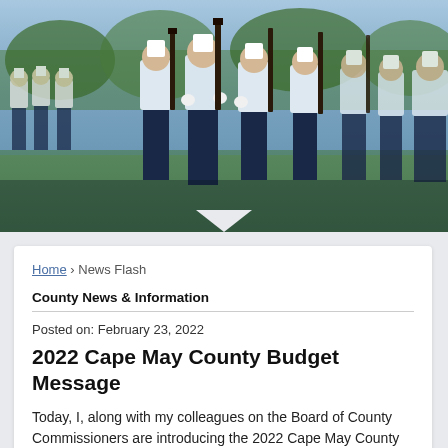[Figure (photo): Military/Coast Guard cadets in white uniforms marching in formation outdoors, carrying rifles, with trees and blue sky in background.]
Home › News Flash
County News & Information
Posted on: February 23, 2022
2022 Cape May County Budget Message
Today, I, along with my colleagues on the Board of County Commissioners are introducing the 2022 Cape May County budget, which includes a tax rate that does not increase and has benefitted from sound fiscal planning and